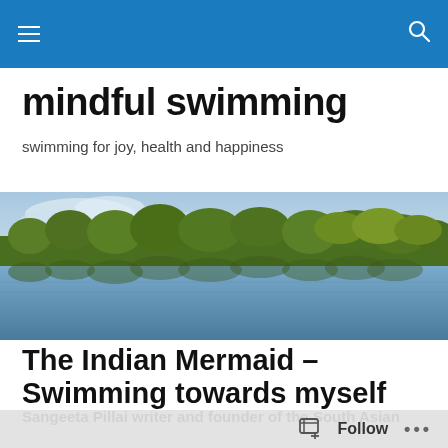mindful swimming — navigation bar
mindful swimming
swimming for joy, health and happiness
[Figure (photo): Panoramic lake scene with calm reflective water and dense tree line along the far shore, partly cloudy sky]
The Indian Mermaid – Swimming towards myself
Sangeeta Pillai writer and founder of the South Asian
Follow   ...